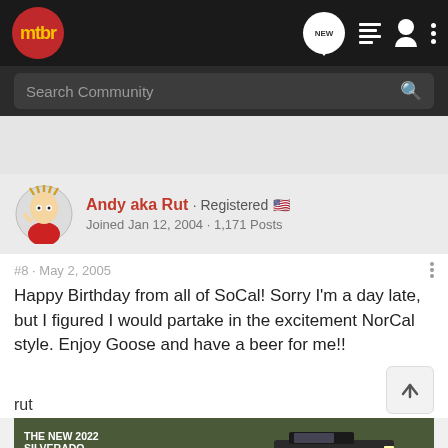[Figure (screenshot): MTBR forum website navigation bar with logo, search field, and user controls]
mtbr
Search Community
Andy aka Rut · Registered
Joined Jan 12, 2004 · 1,171 Posts
#8 · May 2, 2005
Happy Birthday from all of SoCal! Sorry I'm a day late, but I figured I would partake in the excitement NorCal style. Enjoy Goose and have a beer for me!!
rut
[Figure (screenshot): Advertisement banner for The New 2022 Silverado by Chevrolet with Explore button]